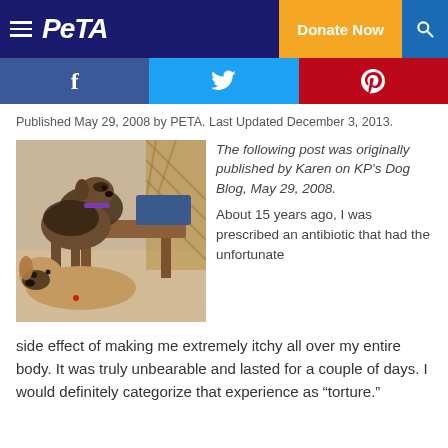PETA — Donate Now
[Figure (screenshot): Social media share bar with Facebook, Twitter, and Pinterest buttons]
Published May 29, 2008 by PETA. Last Updated December 3, 2013.
[Figure (photo): Two dogs — a large brown and black dog standing over a smaller tan dog — indoors near a wooden bench and wicker furniture]
The following post was originally published by Karen on KP's Dog Blog, May 29, 2008.
About 15 years ago, I was prescribed an antibiotic that had the unfortunate side effect of making me extremely itchy all over my entire body. It was truly unbearable and lasted for a couple of days. I would definitely categorize that experience as “torture.”